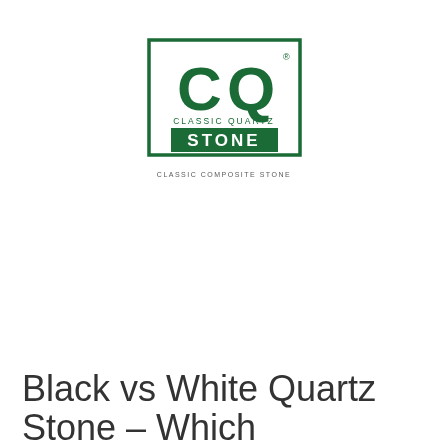[Figure (logo): Classic Quartz Stone logo — a square green-bordered box containing the letters CQ in dark green with 'CLASSIC QUARTZ' text below in small caps and a solid dark green rectangle with 'STONE' in white bold text. Below the box is the tagline 'CLASSIC COMPOSITE STONE'.]
Black vs White Quartz Stone – Which